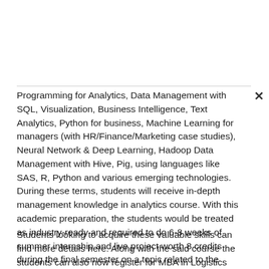Programming for Analytics, Data Management with SQL, Visualization, Business Intelligence, Text Analytics, Python for business, Machine Learning for managers (with HR/Finance/Marketing case studies), Neural Network & Deep Learning, Hadoop Data Management with Hive, Pig, using languages like SAS, R, Python and various emerging technologies. During these terms, students will receive in-depth management knowledge in analytics course. With this academic preparation, the students would be treated as industry-ready and required to do 6-8 weeks of summer internship and live project worth 8 credits during the final semester on a topic related to the specializations areas in collaboration with different industry/organizations.
Students looking to acquire these valuable skills can find more details here. Along with the said course the students can also now register for MBA in Logistics and Supply Chain and MBA in